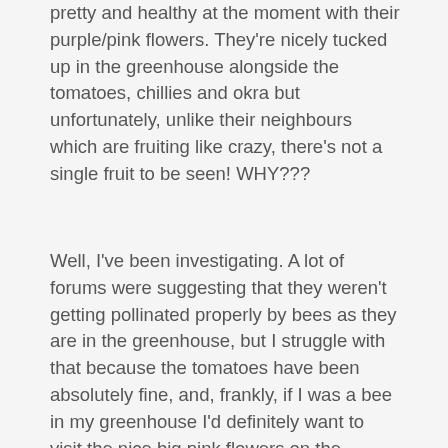pretty and healthy at the moment with their purple/pink flowers. They're nicely tucked up in the greenhouse alongside the tomatoes, chillies and okra but unfortunately, unlike their neighbours which are fruiting like crazy, there's not a single fruit to be seen! WHY???
Well, I've been investigating. A lot of forums were suggesting that they weren't getting pollinated properly by bees as they are in the greenhouse, but I struggle with that because the tomatoes have been absolutely fine, and, frankly, if I was a bee in my greenhouse I'd definitely want to visit the nice big pink flowers on the aubergine plants. In fact, I'd buzz over there first before eventually making my way to the piddly little yellow tomato flowers.
Having ruled out bad pollination, I looked for other answers and the one thing that